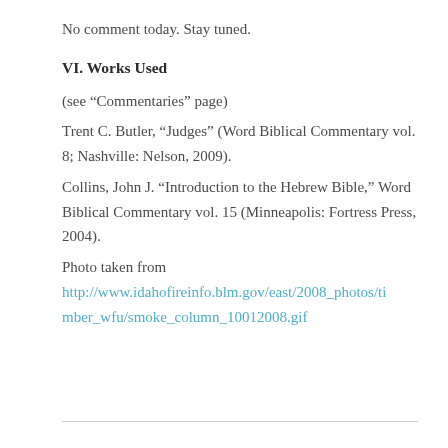No comment today. Stay tuned.
VI. Works Used
(see “Commentaries” page)
Trent C. Butler, “Judges” (Word Biblical Commentary vol. 8; Nashville: Nelson, 2009).
Collins, John J. “Introduction to the Hebrew Bible,” Word Biblical Commentary vol. 15 (Minneapolis: Fortress Press, 2004).
Photo taken from http://www.idahofireinfo.blm.gov/east/2008_photos/timber_wfu/smoke_column_10012008.gif